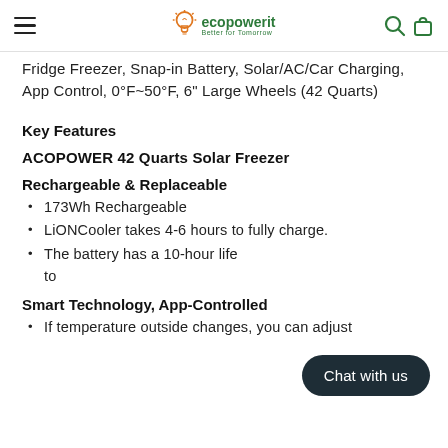ecopowerit Better for Tomorrow
Fridge Freezer, Snap-in Battery, Solar/AC/Car Charging, App Control, 0°F~50°F, 6" Large Wheels (42 Quarts)
Key Features
ACOPOWER 42 Quarts Solar Freezer
Rechargeable & Replaceable
173Wh Rechargeable
LiONCooler takes 4-6 hours to fully charge.
The battery has a 10-hour life to ...
Smart Technology, App-Controlled
If temperature outside changes, you can adjust